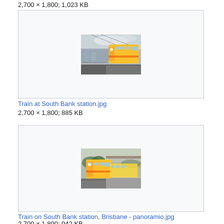2,700 × 1,800; 1,023 KB
[Figure (photo): Photo of a yellow commuter train at South Bank station platform, viewed from track level with overhead wires visible and cloudy sky]
Train at South Bank station.jpg
2,700 × 1,800; 885 KB
[Figure (photo): Photo of a yellow commuter train at South Bank station Brisbane, platform view with trees in background]
Train on South Bank station, Brisbane - panoramio.jpg
2,700 × 1,800; 942 KB